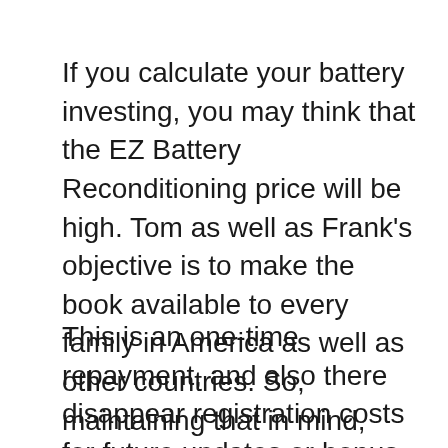If you calculate your battery investing, you may think that the EZ Battery Reconditioning price will be high. Tom as well as Frank's objective is to make the book available to every family in America as well as other countries. So, maintaining that in mind, they priced it reasonably, expense simply $47, as well as obtain the lifetime access to as well as future additions.
This is an one-time repayment, and also there disappear registration costs for future updates or bonus offers. You will get a 60-day money-back guarantee also. So, if you do not like guide, you can obtain a full